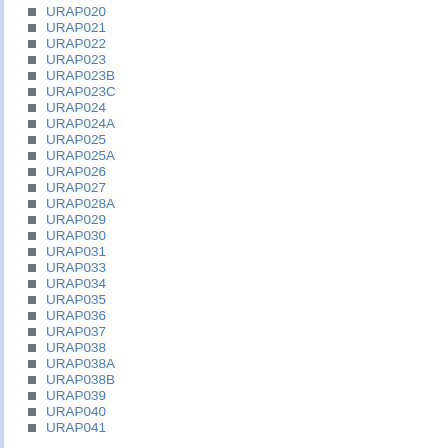URAP020
URAP021
URAP022
URAP023
URAP023B
URAP023C
URAP024
URAP024A
URAP025
URAP025A
URAP026
URAP027
URAP028A
URAP029
URAP030
URAP031
URAP033
URAP034
URAP035
URAP036
URAP037
URAP038
URAP038A
URAP038B
URAP039
URAP040
URAP041